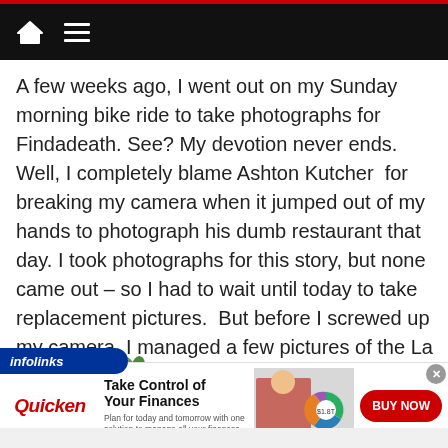navigation bar with home and menu icons
A few weeks ago, I went out on my Sunday morning bike ride to take photographs for Findadeath. See? My devotion never ends. Well, I completely blame Ashton Kutcher  for breaking my camera when it jumped out of my hands to photograph his dumb restaurant that day. I took photographs for this story, but none came out – so I had to wait until today to take replacement pictures.  But before I screwed up my camera, I managed a few pictures of the La Brea tar pits,
[Figure (screenshot): Infolinks branded label in blue pill shape with plant decoration, and Quicken advertisement banner showing 'Take Control of Your Finances' with a woman at a laptop, a donut chart graphic, and a red BUY NOW button]